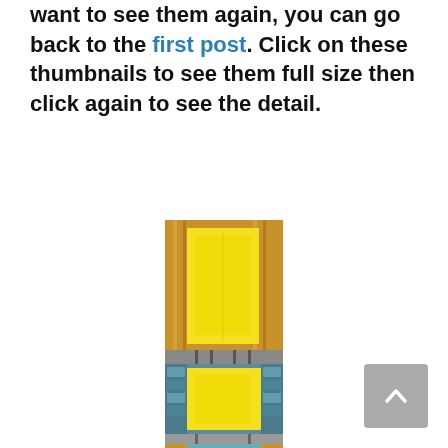want to see them again, you can go back to the first post. Click on these thumbnails to see them full size then click again to see the detail.
[Figure (illustration): Tall narrow vertical strip showing stained glass window panels: top section with amber/golden border and bright yellow rectangular panel, middle section with teal/blue border and yellow central panel, bottom section partially visible with amber border and blue details.]